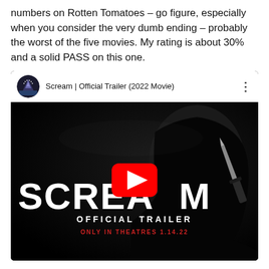numbers on Rotten Tomatoes – go figure, especially when you consider the very dumb ending – probably the worst of the five movies. My rating is about 30% and a solid PASS on this one.
[Figure (screenshot): YouTube video embed showing the Scream Official Trailer (2022 Movie) by Paramount Pictures. The thumbnail shows the Ghostface killer mask in darkness holding a knife, with 'SCREAM' in large white text, 'OFFICIAL TRAILER' below, and 'ONLY IN THEATRES 1.14.22' in red. A YouTube play button is centered over the thumbnail.]